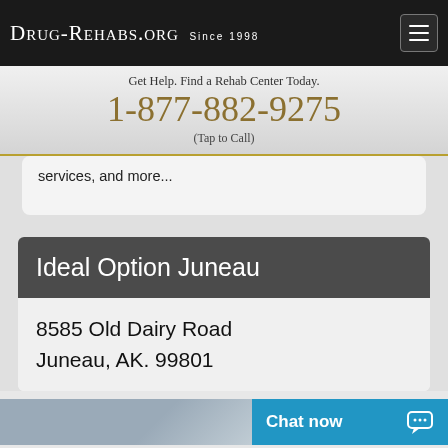Drug-Rehabs.org Since 1998
Get Help. Find a Rehab Center Today. 1-877-882-9275 (Tap to Call)
services, and more...
Ideal Option Juneau
8585 Old Dairy Road
Juneau, AK. 99801
[Figure (screenshot): Bottom portion showing partial image and blue chat now button]